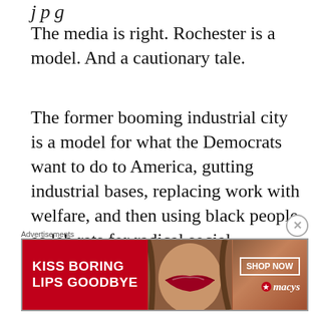j p g
The media is right. Rochester is a model. And a cautionary tale.
The former booming industrial city is a model for what the Democrats want to do to America, gutting industrial bases, replacing work with welfare, and then using black people as lab rats for radical social experiments like drug legalization and police defunding with deadly
Advertisements
[Figure (illustration): Advertisement banner for Macy's featuring red lips makeup promotion with text 'KISS BORING LIPS GOODBYE' and 'SHOP NOW' button with Macy's logo]